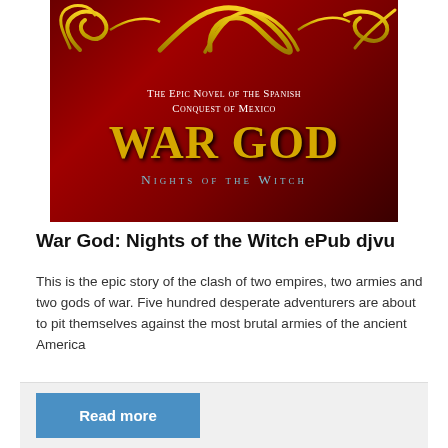[Figure (illustration): Book cover of 'War God: Nights of the Witch' showing a dark red background with gold decorative Aztec/serpent motifs at top, white text reading 'The Epic Novel of the Spanish Conquest of Mexico', large gold text 'WAR GOD', and teal small-caps text 'NIGHTS OF THE WITCH']
War God: Nights of the Witch ePub djvu
This is the epic story of the clash of two empires, two armies and two gods of war. Five hundred desperate adventurers are about to pit themselves against the most brutal armies of the ancient America
Read more